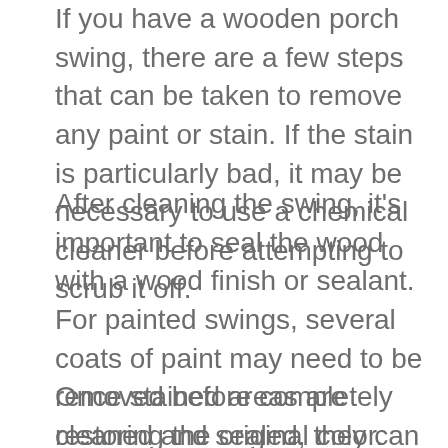If you have a wooden porch swing, there are a few steps that can be taken to remove any paint or stain. If the stain is particularly bad, it may be necessary to use a chemical cleaner before attempting to scrub it off.
After cleaning the swing, it's important to seal the wood with a wood finish or sealant. For painted swings, several coats of paint may need to be removed before completely restoring the original color. When staining a wooden porch swing, be sure not to get any of the wood wet or the stain will spread more quickly.
Once stained areas are cleaned and sealed, they can be enjoyed as part of your garden oasis.